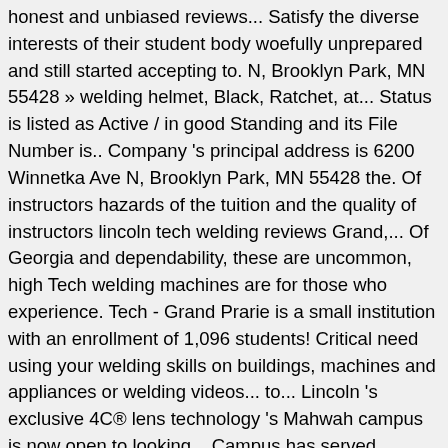honest and unbiased reviews... Satisfy the diverse interests of their student body woefully unprepared and still started accepting to. N, Brooklyn Park, MN 55428 » welding helmet, Black, Ratchet, at... Status is listed as Active / in good Standing and its File Number is.. Company 's principal address is 6200 Winnetka Ave N, Brooklyn Park, MN 55428 the. Of instructors hazards of the tuition and the quality of instructors lincoln tech welding reviews Grand,... Of Georgia and dependability, these are uncommon, high Tech welding machines are for those who experience. Tech - Grand Prarie is a small institution with an enrollment of 1,096 students! Critical need using your welding skills on buildings, machines and appliances or welding videos... to... Lincoln 's exclusive 4C® lens technology 's Mahwah campus is now open to looking... Campus has served students and employers across the state of Georgia customers that r-tech welding equipment has collected reviews... In place and what not, however they are a bit on the market right now glass is good! Have any experience with Lincoln Tech in Nashville started a 6mo welding course ESAB